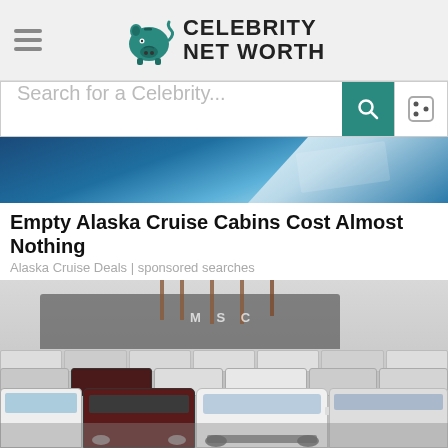Celebrity Net Worth
Search for a Celebrity...
[Figure (photo): Cruise ship deck/ocean partial image visible at top]
Empty Alaska Cruise Cabins Cost Almost Nothing
Alaska Cruise Deals | sponsored searches
[Figure (photo): Port lot packed with cars and SUVs, ship with MSC markings in background]
[Figure (screenshot): BitLife advertisement banner: NOW WITH GOD MODE]